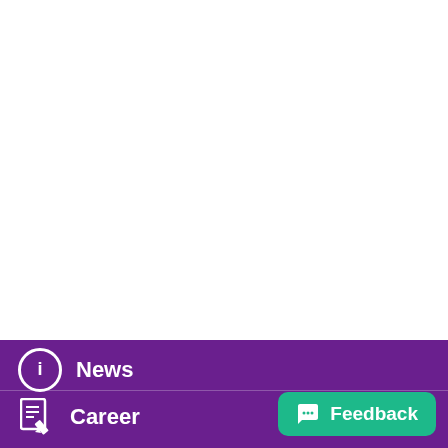[Figure (screenshot): White blank area occupying the upper portion of the page]
News
Career
Feedback